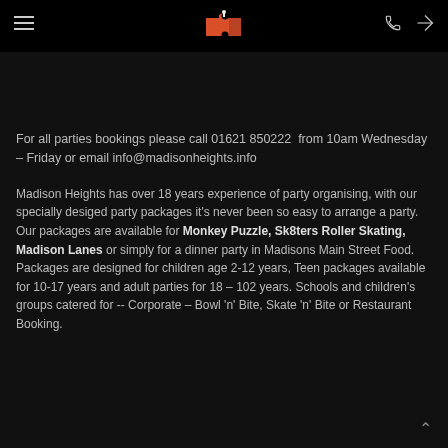Madison Heights navigation header with logo
For all parties bookings please call 01621 850222  from 10am Wednesday – Friday or email info@madisonheights.info
Madison Heights has over 18 years experience of party organising, with our specially desiged party packages it's never been so easy to arrange a party. Our packages are available for Monkey Puzzle, Sk8ters Roller Skating, Madison Lanes or simply for a dinner party in Madisons Main Street Food.
Packages are designed for children age 2-12 years, Teen packages available for 10-17 years and adult parties for 18 – 102 years. Schools and children's groups catered for -- Corporate – Bowl 'n' Bite, Skate 'n' Bite or Restaurant Booking.